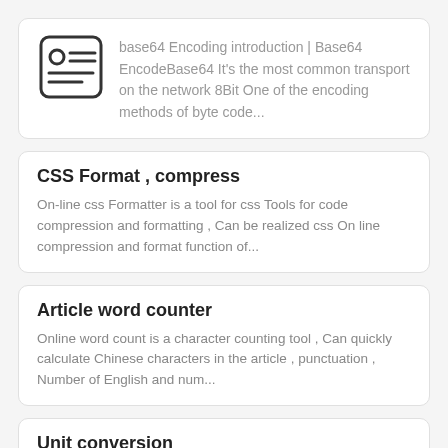[Figure (illustration): Icon of a document/card with a circle and horizontal lines]
base64 Encoding introduction | Base64 EncodeBase64 It&#39;s the most common transport on the network 8Bit One of the encoding methods of byte code...
CSS Format , compress
On-line css Formatter is a tool for css Tools for code compression and formatting , Can be realized css On line compression and format function of...
Article word counter
Online word count is a character counting tool , Can quickly calculate Chinese characters in the article , punctuation , Number of English and num...
Unit conversion